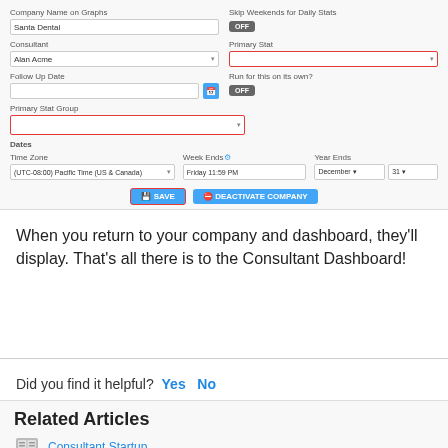[Figure (screenshot): Form screenshot showing company settings fields: Company Name on Graphs (Santa Dental), Consultant (Alan Acme), Follow Up Date, Primary Stat Group (highlighted red border), Skip Weekends for Daily Stats toggle OFF, Primary Stat field (highlighted red border), Run for this on its own toggle OFF. Dates section with Time Zone (UTC-08:00 Pacific Time (US & Canada)), Week Ends (Friday 11:59 PM), Year Ends (December 31). Save button (blue with red border) and Deactivate Company button (blue).]
When you return to your company and dashboard, they'll display.  That's all there is to the Consultant Dashboard!
Did you find it helpful?  Yes  No
Related Articles
Consultant Startup